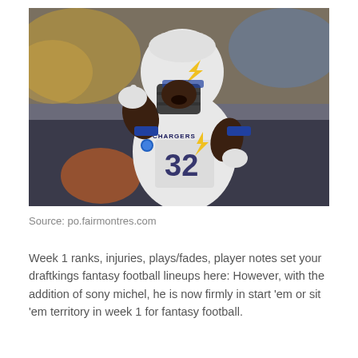[Figure (photo): NFL Los Angeles Chargers player wearing white jersey number 32, holding up one finger, wearing a white helmet with yellow lightning bolt logo, on a blurred stadium background]
Source: po.fairmontres.com
Week 1 ranks, injuries, plays/fades, player notes set your draftkings fantasy football lineups here: However, with the addition of sony michel, he is now firmly in start 'em or sit 'em territory in week 1 for fantasy football.